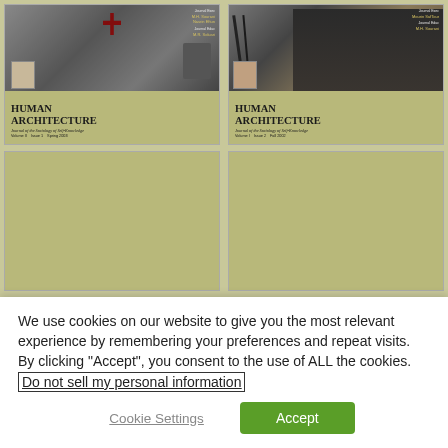[Figure (illustration): Two journal cover images for 'Human Architecture: Journal of the Sociology of Self-Knowledge' shown side by side. Left cover: Volume II, Issue 1, Spring 2003. Right cover: Volume I, Issue 2, Fall 2002. Both covers feature dark artistic imagery with a portrait inset and khaki/tan background at bottom with journal title in bold serif font.]
[Figure (illustration): Two partially visible journal covers (bottom row), showing only the khaki/tan background color with no visible text content.]
We use cookies on our website to give you the most relevant experience by remembering your preferences and repeat visits. By clicking “Accept”, you consent to the use of ALL the cookies. Do not sell my personal information